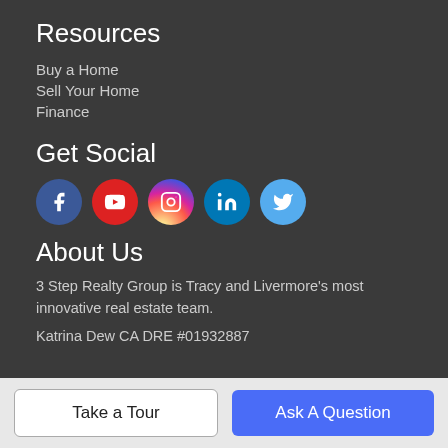Resources
Buy a Home
Sell Your Home
Finance
Get Social
[Figure (illustration): Five social media icons in circles: Facebook (blue), YouTube (red), Instagram (gradient pink/purple), LinkedIn (blue), Twitter (light blue)]
About Us
3 Step Realty Group is Tracy and Livermore's most innovative real estate team.
Katrina Dew CA DRE #01932887
Take a Tour
Ask A Question